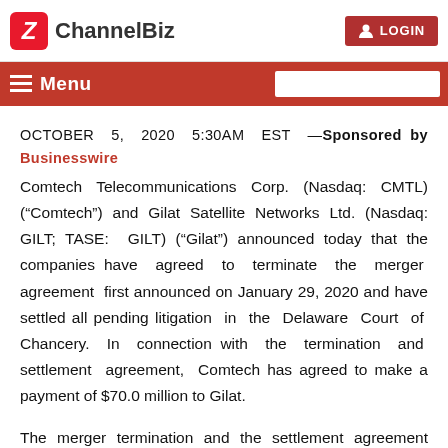ChannelBiz | LOGIN
Menu
OCTOBER 5, 2020 5:30AM EST —Sponsored by Businesswire Comtech Telecommunications Corp. (Nasdaq: CMTL) (“Comtech”) and Gilat Satellite Networks Ltd. (Nasdaq: GILT; TASE: GILT) (“Gilat”) announced today that the companies have agreed to terminate the merger agreement first announced on January 29, 2020 and have settled all pending litigation in the Delaware Court of Chancery. In connection with the termination and settlement agreement, Comtech has agreed to make a payment of $70.0 million to Gilat.
The merger termination and the settlement agreement have been approved by each company’s board of directors and